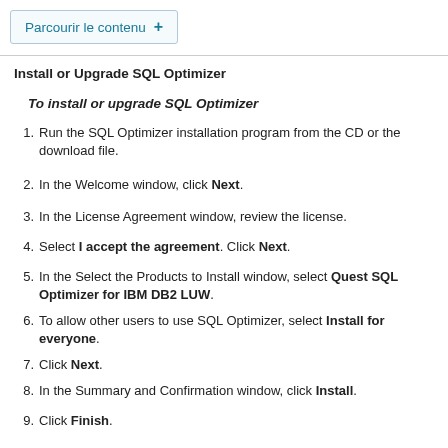Parcourir le contenu +
Install or Upgrade SQL Optimizer
To install or upgrade SQL Optimizer
Run the SQL Optimizer installation program from the CD or the download file.
In the Welcome window, click Next.
In the License Agreement window, review the license.
Select I accept the agreement. Click Next.
In the Select the Products to Install window, select Quest SQL Optimizer for IBM DB2 LUW.
To allow other users to use SQL Optimizer, select Install for everyone.
Click Next.
In the Summary and Confirmation window, click Install.
Click Finish.